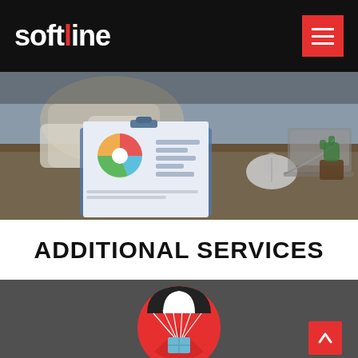softline
[Figure (photo): Person sitting at a wooden desk reviewing business documents with a pie chart, bar charts, and clipboard. A computer mouse and small potted cactus are visible in the background.]
ADDITIONAL SERVICES
[Figure (illustration): Flat design illustration on dark gray background: a red circle with a white and dark parachute delivering a blue package/box below it. A red scroll-to-top button with an upward chevron arrow is in the bottom right corner.]